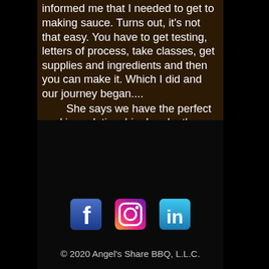informed me that I needed to get to making sauce.  Turns out, it's not that easy.  You have to get testing, letters of process, take classes, get supplies and ingredients and then you can make it.  Which I did and our journey began....  She says we have the perfect working relationship.  I make the sauce, bottled it, label it, box it and get it ready for distribution.  When we sell it, she gets the check.  Perfect.
[Figure (logo): Facebook, Instagram, and LinkedIn social media icons displayed in a row]
© 2020 Angel's Share BBQ, L.L.C.